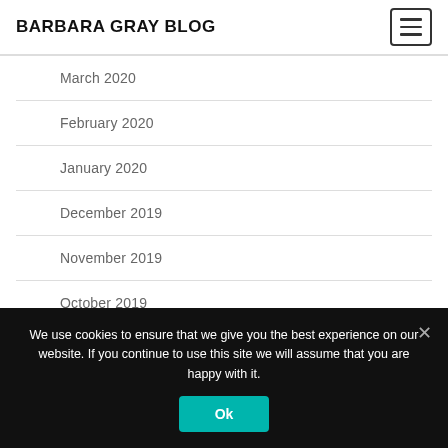BARBARA GRAY BLOG
March 2020
February 2020
January 2020
December 2019
November 2019
October 2019
September 2019
We use cookies to ensure that we give you the best experience on our website. If you continue to use this site we will assume that you are happy with it.
Ok